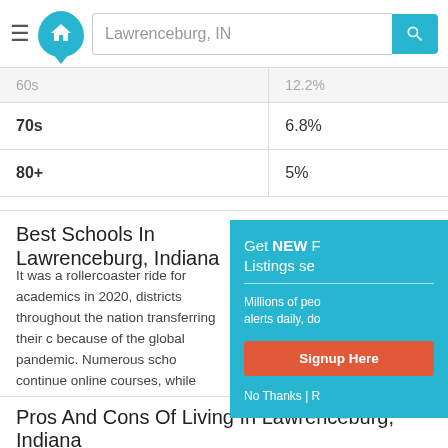Lawrenceburg, IN
|  |  |
| --- | --- |
| 60s | 12.2% |
| 70s | 6.8% |
| 80+ | 5% |
Best Schools In Lawrenceburg, Indiana
It was a rollercoaster ride for academics in 2020, districts throughout the nation transferring their c because of the global pandemic. Numerous scho continue online courses, while others will welcom back to campus. Regardless, homebuyers are sho homes in Lawrenceburg with dedicated in-home l spaces, as well as for homes located within the b systems for in-person instruction in Lawrenceburg
Pros And Cons Of Living In Lawrenceburg, Indiana